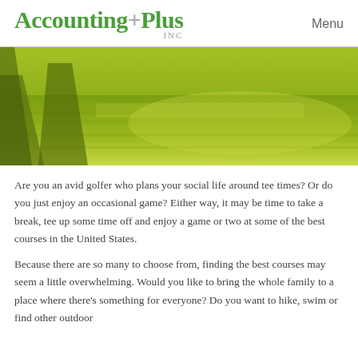Accounting+Plus INC  Menu
[Figure (photo): Aerial/close-up view of a golf course fairway with green grass and shadows of trees]
Are you an avid golfer who plans your social life around tee times? Or do you just enjoy an occasional game? Either way, it may be time to take a break, tee up some time off and enjoy a game or two at some of the best courses in the United States.
Because there are so many to choose from, finding the best courses may seem a little overwhelming. Would you like to bring the whole family to a place where there's something for everyone? Do you want to hike, swim or find other outdoor